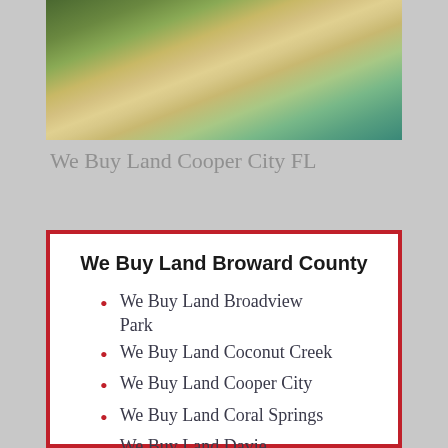[Figure (photo): Aerial view of a beach with palm trees, sandy shore, and turquoise water]
We Buy Land Cooper City FL
We Buy Land Broward County
We Buy Land Broadview Park
We Buy Land Coconut Creek
We Buy Land Cooper City
We Buy Land Coral Springs
We Buy Land Davie
We Buy Land Dania Beach